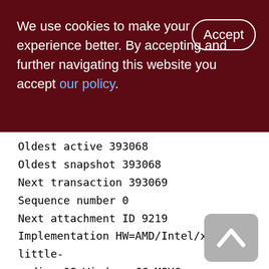We use cookies to make your experience better. By accepting and further navigating this website you accept our policy.
Oldest active 393068
Oldest snapshot 393068
Next transaction 393069
Sequence number 0
Next attachment ID 9219
Implementation HW=AMD/Intel/x64 little-endian OS=Windows CC=MSVC
Shadow count 0
Page buffers 0
Next header page 0
Database dialect 3
Creation date Jan 11, 2017 15:15:54
Attributes for site...